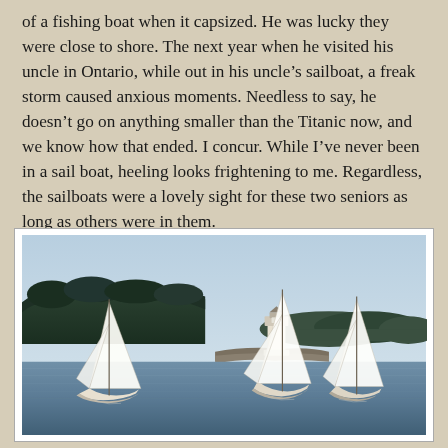of a fishing boat when it capsized. He was lucky they were close to shore. The next year when he visited his uncle in Ontario, while out in his uncle's sailboat, a freak storm caused anxious moments. Needless to say, he doesn't go on anything smaller than the Titanic now, and we know how that ended. I concur. While I've never been in a sail boat, heeling looks frightening to me. Regardless, the sailboats were a lovely sight for these two seniors as long as others were in them.
[Figure (photo): Photograph of three sailboats on calm water with a lighthouse on a rocky point in the background and a forested shoreline, taken on a clear day.]